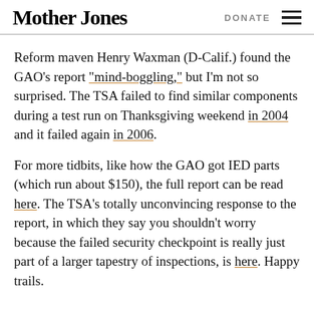Mother Jones | DONATE
Reform maven Henry Waxman (D-Calif.) found the GAO’s report “mind-boggling,” but I’m not so surprised. The TSA failed to find similar components during a test run on Thanksgiving weekend in 2004 and it failed again in 2006.
For more tidbits, like how the GAO got IED parts (which run about $150), the full report can be read here. The TSA’s totally unconvincing response to the report, in which they say you shouldn’t worry because the failed security checkpoint is really just part of a larger tapestry of inspections, is here. Happy trails.